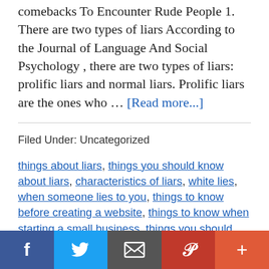comebacks To Encounter Rude People 1. There are two types of liars According to the Journal of Language And Social Psychology , there are two types of liars: prolific liars and normal liars. Prolific liars are the ones who … [Read more...]
Filed Under: Uncategorized
things about liars, things you should know about liars, characteristics of liars, white lies, when someone lies to you, things to know before creating a website, things to know when starting a small business, things you should know when buying a house, things you should know before starting a business, things you need to know, THINGS YOU NEED TO KNOW things you should know...